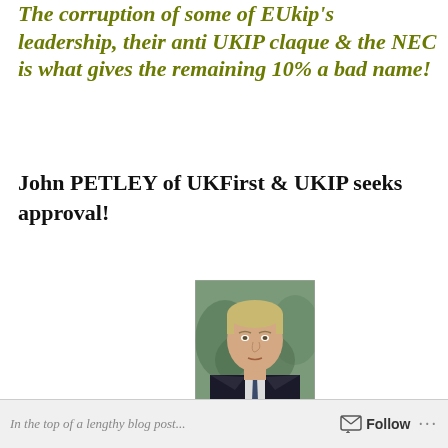The corruption of some of EUkip's leadership, their anti UKIP claque & the NEC is what gives the remaining 10% a bad name!
John PETLEY of UKFirst & UKIP seeks approval!
[Figure (photo): Portrait photo of a middle-aged man with blond/grey hair wearing a dark suit and tie, against a blurred outdoor background.]
In the top of a lengthy blog post...